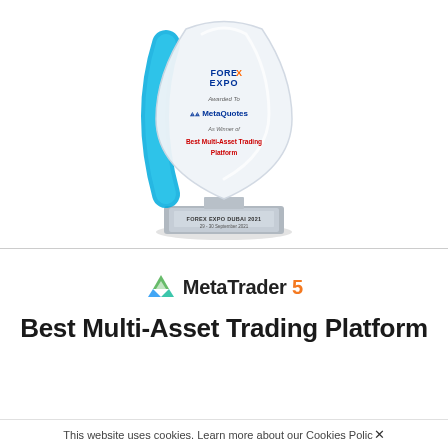[Figure (photo): Award trophy from Forex Expo Dubai 2021. A transparent acrylic shield-shaped trophy with a blue curved accent on the left side. Text on trophy reads: FOREX EXPO, Awarded To, MetaQuotes, As Winner of, Best Multi-Asset Trading Platform. The silver metallic base reads: FOREX EXPO DUBAI 2021, 29 - 30 September 2021.]
[Figure (logo): MetaTrader 5 logo — green/blue recycling-style triangular icon followed by text 'MetaTrader 5' where '5' is in orange]
Best Multi-Asset Trading Platform
This website uses cookies. Learn more about our Cookies Policy ×